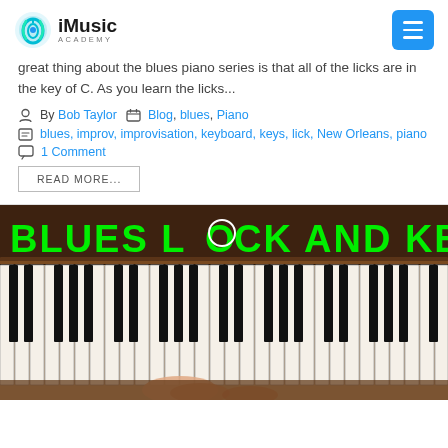iMusic Academy
great thing about the blues piano series is that all of the licks are in the key of C. As you learn the licks...
By Bob Taylor  Blog, blues, Piano
blues, improv, improvisation, keyboard, keys, lick, New Orleans, piano
1 Comment
READ MORE...
[Figure (photo): Photo of piano keys with green text overlay reading 'BLUES LOCK AND KEY', showing piano keyboard with hands.]